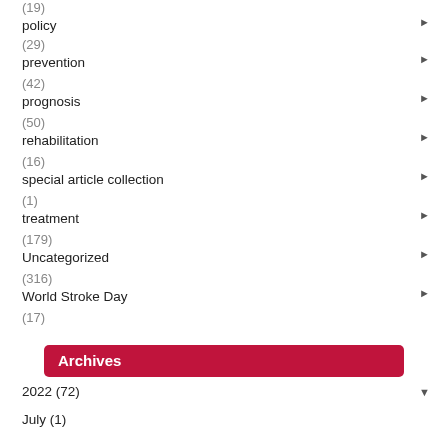(19)
policy
(29)
prevention
(42)
prognosis
(50)
rehabilitation
(16)
special article collection
(1)
treatment
(179)
Uncategorized
(316)
World Stroke Day
(17)
Archives
2022 (72)
July (1)